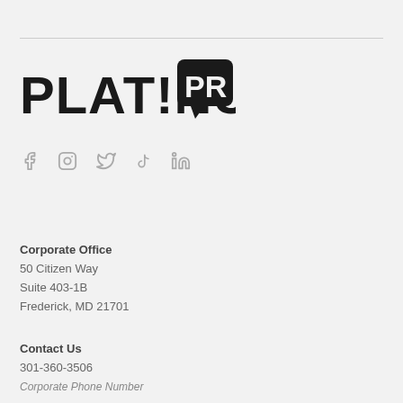[Figure (logo): Platinum PR logo — bold sans-serif text PLATINUM with exclamation mark replacing the I, followed by PR in a speech-bubble box]
[Figure (infographic): Social media icons: Facebook, Instagram, Twitter, TikTok, LinkedIn — all in light grey]
Corporate Office
50 Citizen Way
Suite 403-1B
Frederick, MD 21701
Contact Us
301-360-3506
Corporate Phone Number